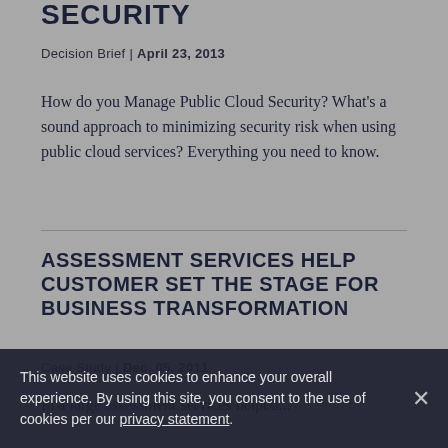SECURITY
Decision Brief | April 23, 2013
How do you Manage Public Cloud Security? What's a sound approach to minimizing security risk when using public cloud services? Everything you need to know.
ASSESSMENT SERVICES HELP CUSTOMER SET THE STAGE FOR BUSINESS TRANSFORMATION
Case Study | Dec. 05, 2011
In a large assessment services helped...
This website uses cookies to enhance your overall experience. By using this site, you consent to the use of cookies per our privacy statement.